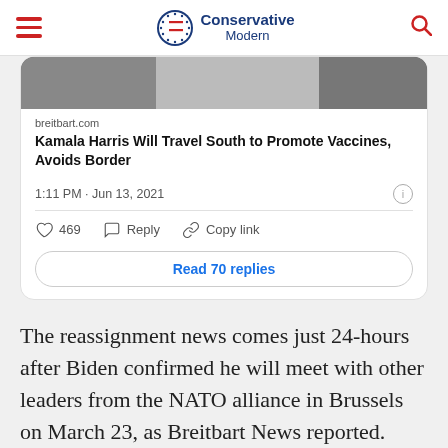Conservative Modern
[Figure (screenshot): Tweet card showing a Breitbart article link: 'Kamala Harris Will Travel South to Promote Vaccines, Avoids Border', with timestamp 1:11 PM · Jun 13, 2021, 469 likes, Reply, Copy link, and Read 70 replies button]
The reassignment news comes just 24-hours after Biden confirmed he will meet with other leaders from the NATO alliance in Brussels on March 23, as Breitbart News reported.